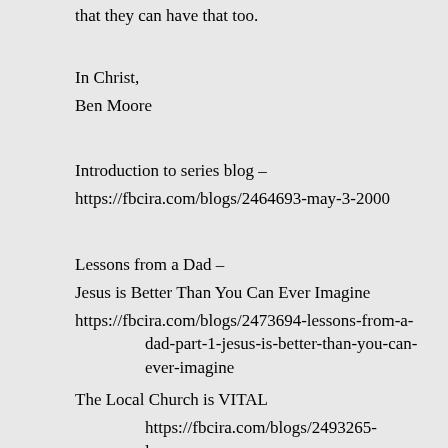that they can have that too.
In Christ,
Ben Moore
Introduction to series blog –
https://fbcira.com/blogs/2464693-may-3-2000
Lessons from a Dad –
Jesus is Better Than You Can Ever Imagine
https://fbcira.com/blogs/2473694-lessons-from-a-dad-part-1-jesus-is-better-than-you-can-ever-imagine
The Local Church is VITAL
https://fbcira.com/blogs/2493265-lessons-